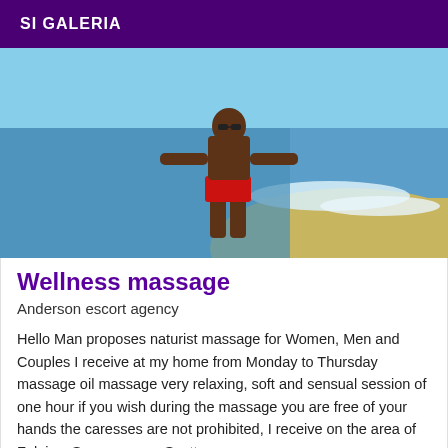SI GALERIA
[Figure (photo): A man in red swim trunks standing on a beach near the water's edge, shirtless and bald, with ocean waves visible in the background.]
Wellness massage
Anderson escort agency
Hello Man proposes naturist massage for Women, Men and Couples I receive at my home from Monday to Thursday massage oil massage very relaxing, soft and sensual session of one hour if you wish during the massage you are free of your hands the caresses are not prohibited, I receive on the area of Falaise. See you soon Scott